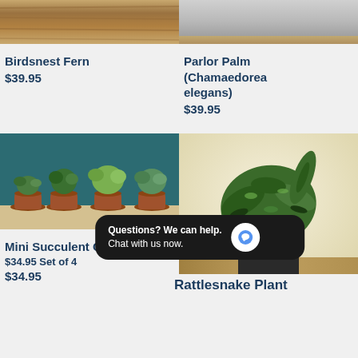[Figure (photo): Birdsnest Fern plant on wooden surface, cropped top portion]
Birdsnest Fern
$39.95
[Figure (photo): Parlor Palm in pot on wooden surface with white background, cropped top portion]
Parlor Palm (Chamaedorea elegans)
$39.95
[Figure (photo): Four small succulent plants in terracotta pots against teal background]
Mini Succulent Gift Set
$34.95 Set of 4
$34.95
[Figure (photo): Rattlesnake Plant with variegated green leaves in black pot on wooden surface]
Rattlesnake Plant
Questions? We can help. Chat with us now.